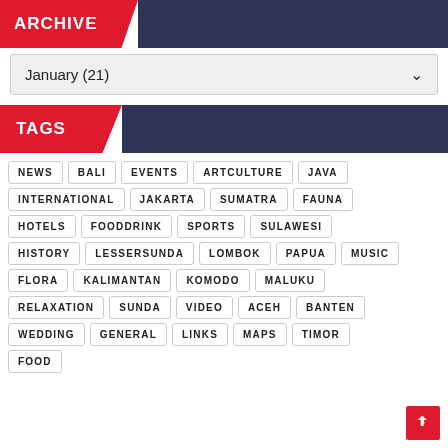ARCHIVE
January (21)
TAGS
NEWS
BALI
EVENTS
ARTCULTURE
JAVA
INTERNATIONAL
JAKARTA
SUMATRA
FAUNA
HOTELS
FOODDRINK
SPORTS
SULAWESI
HISTORY
LESSERSUNDA
LOMBOK
PAPUA
MUSIC
FLORA
KALIMANTAN
KOMODO
MALUKU
RELAXATION
SUNDA
VIDEO
ACEH
BANTEN
WEDDING
GENERAL
LINKS
MAPS
TIMOR
FOOD